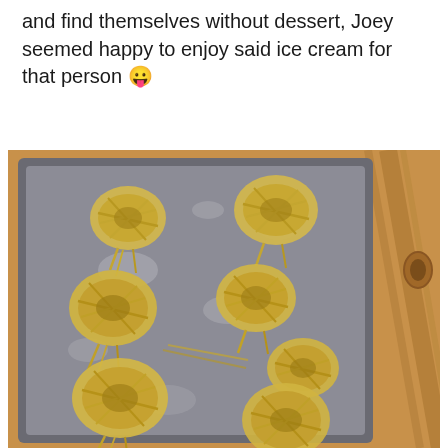and find themselves without dessert, Joey seemed happy to enjoy said ice cream for that person 😛
[Figure (photo): A baking sheet/tray on a wooden surface with multiple nests of fresh homemade fettuccine pasta arranged on it, dusted with flour.]